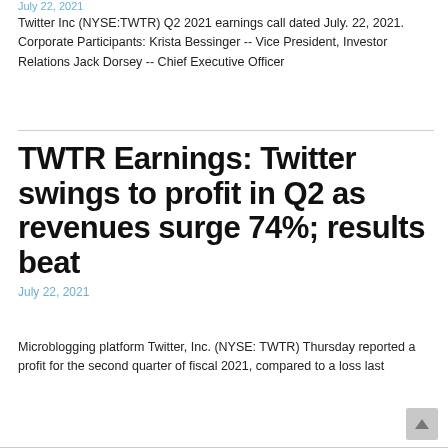July 22, 2021
Twitter Inc (NYSE:TWTR) Q2 2021 earnings call dated July. 22, 2021. Corporate Participants: Krista Bessinger -- Vice President, Investor Relations Jack Dorsey -- Chief Executive Officer
TWTR Earnings: Twitter swings to profit in Q2 as revenues surge 74%; results beat
July 22, 2021
Microblogging platform Twitter, Inc. (NYSE: TWTR) Thursday reported a profit for the second quarter of fiscal 2021, compared to a loss last